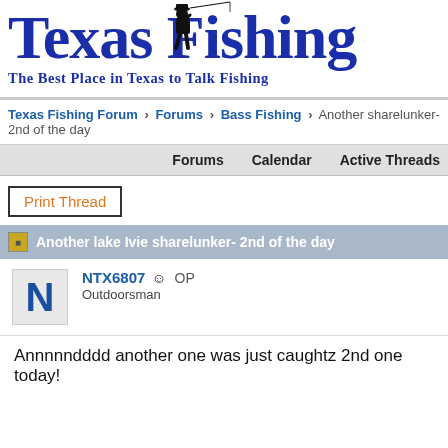[Figure (logo): Texas Fishing logo with fisherman silhouette and fishing rod, bold blue serif text reading 'Texas Fishing']
The Best Place in Texas to Talk Fishing
Texas Fishing Forum > Forums > Bass Fishing > Another sharelunker- 2nd of the day
Forums   Calendar   Active Threads
Print Thread
Another lake Ivie sharelunker- 2nd of the day
NTX6807  OP
Outdoorsman
Annnnndddd another one was just caughtz 2nd one today!